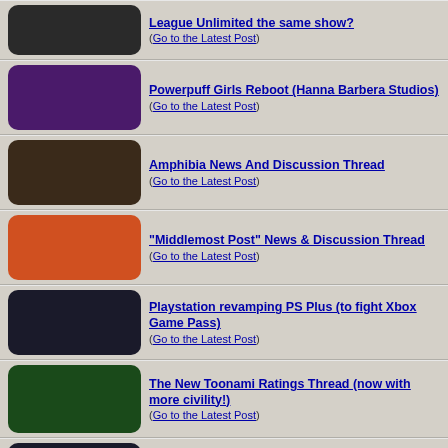League Unlimited the same show? (Go to the Latest Post)
Powerpuff Girls Reboot (Hanna Barbera Studios) (Go to the Latest Post)
Amphibia News And Discussion Thread (Go to the Latest Post)
"Middlemost Post" News & Discussion Thread (Go to the Latest Post)
Playstation revamping PS Plus (to fight Xbox Game Pass) (Go to the Latest Post)
The New Toonami Ratings Thread (now with more civility!) (Go to the Latest Post)
Crunchyroll News & Discussion Thread (Go to the Latest Post)
"Bugs Bunny Builders" News & Discussion Thread (Spoilers) (Go to the Latest Post)